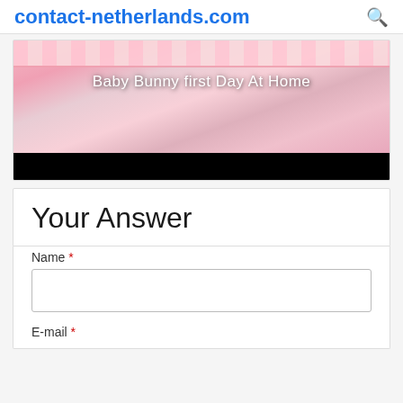contact-netherlands.com
[Figure (photo): Photo of a baby bunny first day at home setup — pink decorative cage with lace trim, straw bedding, and text overlay reading 'Baby Bunny first Day At Home', with a black bar at the bottom]
Your Answer
Name *
E-mail *